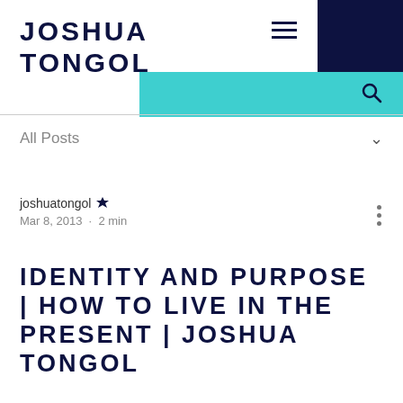JOSHUA TONGOL
All Posts
joshuatongol 👑
Mar 8, 2013 · 2 min
IDENTITY AND PURPOSE | HOW TO LIVE IN THE PRESENT | JOSHUA TONGOL